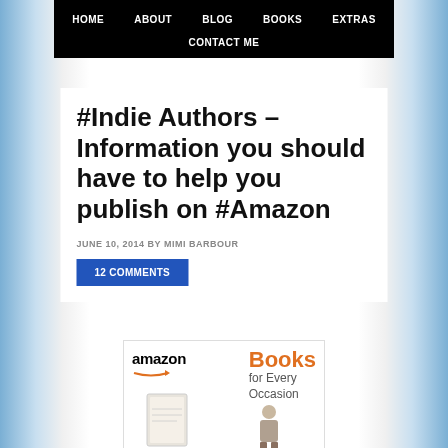HOME   ABOUT   BLOG   BOOKS   EXTRAS   CONTACT ME
#Indie Authors – Information you should have to help you publish on #Amazon
JUNE 10, 2014 BY MIMI BARBOUR
12 COMMENTS
[Figure (photo): Amazon Books for Every Occasion advertisement banner with Amazon logo and book imagery]